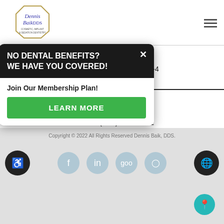[Figure (logo): Dennis Baik DDS logo with diamond shape and text 'Cosmetic, Implant & Sedation Dentistry']
Dennis Baik, DDS
827 Blossom Hill Rd Suite E-4
San Jose, CA 95123
Contact
Phone: (408) 676-5321
Copyright © 2022 All Rights Reserved Dennis Baik, DDS.
[Figure (screenshot): Popup modal with dark header saying 'NO DENTAL BENEFITS? WE HAVE YOU COVERED!' and a green Learn More button. Also shows social media icons and accessibility/globe/location icons at bottom.]